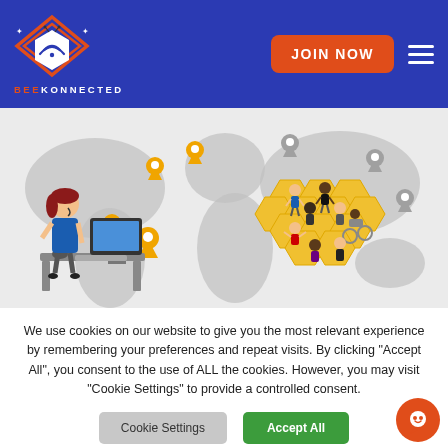[Figure (logo): BeeKonnected logo: orange diamond/hexagon shape with bee and wifi signal, with brand name BEEKONNECTED in orange and white letters]
[Figure (illustration): Hero illustration showing a world map with location pins, a female cartoon character at a desk, and a honeycomb pattern with diverse cartoon people figures]
We use cookies on our website to give you the most relevant experience by remembering your preferences and repeat visits. By clicking "Accept All", you consent to the use of ALL the cookies. However, you may visit "Cookie Settings" to provide a controlled consent.
[Figure (other): Cookie Settings button (gray rounded rectangle) and Accept All button (green rounded rectangle), plus orange chat bubble icon in bottom right]